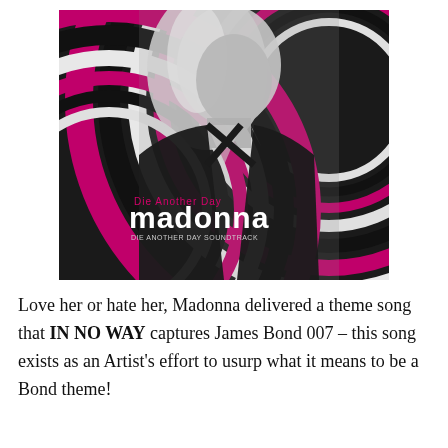[Figure (photo): Album cover art for Madonna's 'Die Another Day' single. A black-and-white photo of Madonna with long blonde hair wearing a black outfit with a deep V-neckline, against a pink and black swirling spiral background. Text reads 'Die Another Day' in pink and 'madonna' in large white bold letters at the bottom left.]
Love her or hate her, Madonna delivered a theme song that IN NO WAY captures James Bond 007 – this song exists as an Artist's effort to usurp what it means to be a Bond theme!